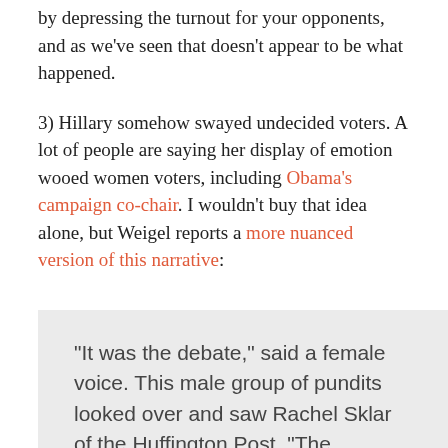by depressing the turnout for your opponents, and as we've seen that doesn't appear to be what happened.
3) Hillary somehow swayed undecided voters. A lot of people are saying her display of emotion wooed women voters, including Obama's campaign co-chair. I wouldn't buy that idea alone, but Weigel reports a more nuanced version of this narrative:
“It was the debate,” said a female voice. This male group of pundits looked over and saw Rachel Sklar of the Huffington Post. “The likeability question.” She was talking about the moment in the debate when Charlie Gibson suggested Clinton had a likeability problem,